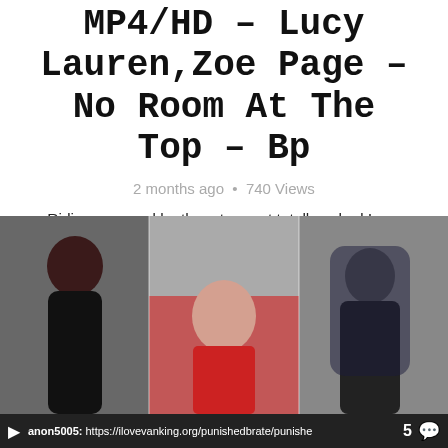MP4/HD – Lucy Lauren,Zoe Page – No Room At The Top – Bp
2 months ago • 740 Views
Riding crop and leather strap get totally naked Lucy Lauren jumping: Lying nude flat down on a desk, beautiful blonde business exec Lucy Lauren is taken to task by a jealous Zoe Page in No Room at the Top. Zoe uses a stinging...
Read more
[Figure (photo): Three-panel photo strip showing people in an office/room setting]
anon5005: https://ilovevanking.org/punishedbrate/punishe  5